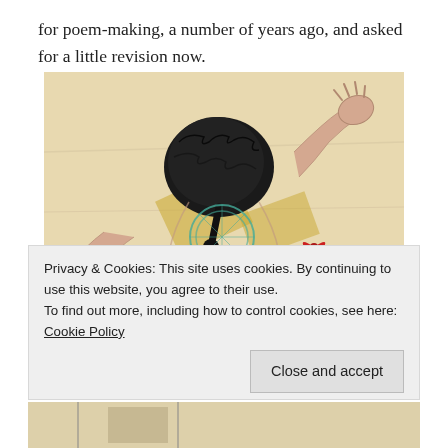for poem-making, a number of years ago, and asked for a little revision now.
[Figure (illustration): A child's drawing or artwork on wrinkled paper showing a figure with dark scribbled hair/braids, outstretched arms, a circular element, and a red bow, drawn in pencil and colored crayon on beige/cream paper with yellow tape marks.]
Privacy & Cookies: This site uses cookies. By continuing to use this website, you agree to their use.
To find out more, including how to control cookies, see here: Cookie Policy
Close and accept